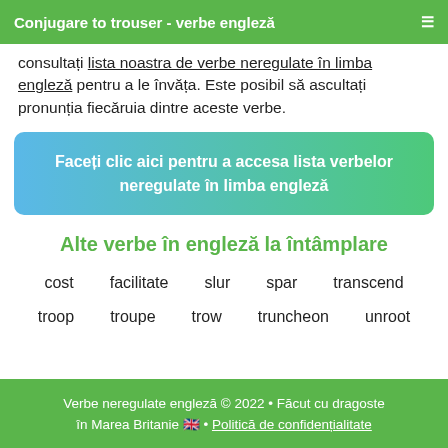Conjugare to trouser - verbe engleză
consultați lista noastra de verbe neregulate în limba engleză pentru a le învăța. Este posibil să ascultați pronunția fiecăruia dintre aceste verbe.
Faceți clic aici pentru a accesa lista verbelor neregulate în limba engleză
Alte verbe în engleză la întâmplare
cost
facilitate
slur
spar
transcend
troop
troupe
trow
truncheon
unroot
Verbe neregulate engleză © 2022 • Făcut cu dragoste în Marea Britanie 🇬🇧 • Politică de confidențialitate